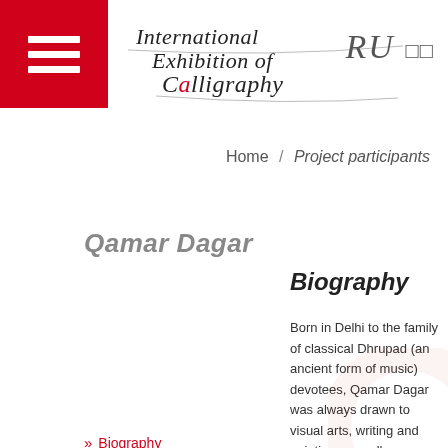[Figure (logo): International Exhibition of Calligraphy script logo with RU language toggle and red hamburger menu icon]
Home / Project participants
Qamar Dagar
Qamar Dagar
New Delhi, India
Calligrapher and Artist
Biography
Born in Delhi to the family of classical Dhrupad (an ancient form of music) devotees, Qamar Dagar was always drawn to visual arts, writing and painting, as well as reading poetry both in Hindi
» Biography